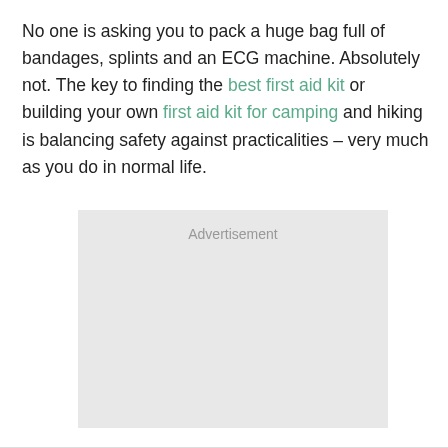No one is asking you to pack a huge bag full of bandages, splints and an ECG machine. Absolutely not. The key to finding the best first aid kit or building your own first aid kit for camping and hiking is balancing safety against practicalities – very much as you do in normal life.
[Figure (other): Advertisement placeholder box with light grey background and 'Advertisement' label text centered at the top.]